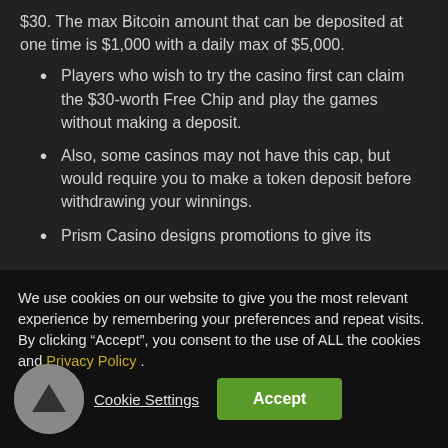$30. The max Bitcoin amount that can be deposited at one time is $1,000 with a daily max of $5,000.
Players who wish to try the casino first can claim the $30-worth Free Chip and play the games without making a deposit.
Also, some casinos may not have this cap, but would require you to make a token deposit before withdrawing your winnings.
Prism Casino designs promotions to give its
We use cookies on our website to give you the most relevant experience by remembering your preferences and repeat visits. By clicking “Accept”, you consent to the use of ALL the cookies and Privacy Policy .
Cookie Settings
Accept